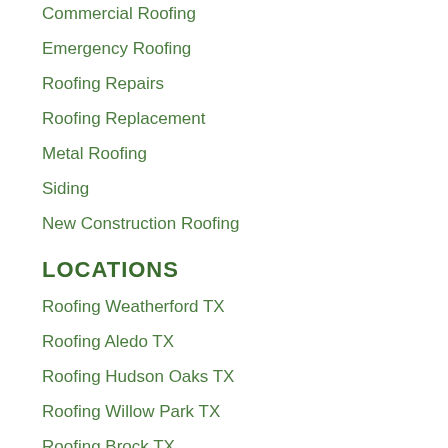Commercial Roofing
Emergency Roofing
Roofing Repairs
Roofing Replacement
Metal Roofing
Siding
New Construction Roofing
LOCATIONS
Roofing Weatherford TX
Roofing Aledo TX
Roofing Hudson Oaks TX
Roofing Willow Park TX
Roofing Brock TX
Roofing Azle TX
Roofing Benbrook TX